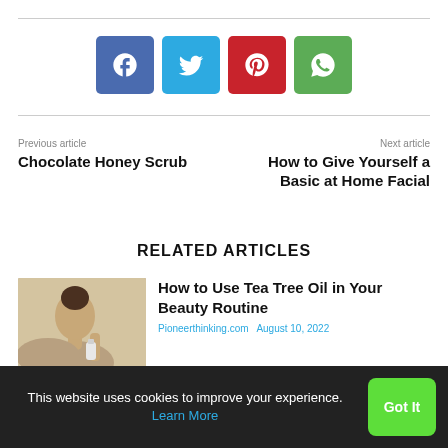[Figure (infographic): Social share buttons: Facebook (blue), Twitter (cyan), Pinterest (red), WhatsApp (green)]
Previous article
Chocolate Honey Scrub
Next article
How to Give Yourself a Basic at Home Facial
RELATED ARTICLES
How to Use Tea Tree Oil in Your Beauty Routine
Pioneerthinking.com  August 10, 2022
This website uses cookies to improve your experience. Learn More
Got It